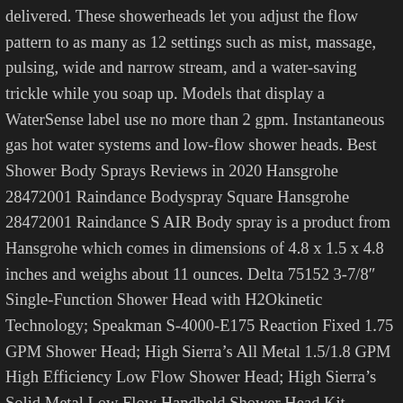delivered. These showerheads let you adjust the flow pattern to as many as 12 settings such as mist, massage, pulsing, wide and narrow stream, and a water-saving trickle while you soap up. Models that display a WaterSense label use no more than 2 gpm. Instantaneous gas hot water systems and low-flow shower heads. Best Shower Body Sprays Reviews in 2020 Hansgrohe 28472001 Raindance Bodyspray Square Hansgrohe 28472001 Raindance S AIR Body spray is a product from Hansgrohe which comes in dimensions of 4.8 x 1.5 x 4.8 inches and weighs about 11 ounces. Delta 75152 3-7/8" Single-Function Shower Head with H2Okinetic Technology; Speakman S-4000-E175 Reaction Fixed 1.75 GPM Shower Head; High Sierra’s All Metal 1.5/1.8 GPM High Efficiency Low Flow Shower Head; High Sierra’s Solid Metal Low Flow Handheld Shower Head Kit (1.5/1.8 GPM) And among single-setting showerheads, the least-expensive model we tested was the clear winner. High Pressure 24 Function 4" Face Dual 2 in 1 Shower Head System with Stainless Steel Hose, Patented 3-way Water Diverter in All-Chrome Finish, Nosame Shower Head, Filter Filtration High Pressure Water Saving 3 Mode Function Spray Handheld Showerheads for Dry Skin & Hair. Also, the product is from